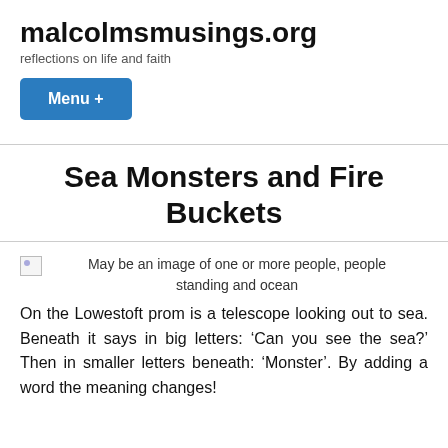malcolmsmusings.org
reflections on life and faith
Menu +
Sea Monsters and Fire Buckets
[Figure (photo): May be an image of one or more people, people standing and ocean]
On the Lowestoft prom is a telescope looking out to sea. Beneath it says in big letters: ‘Can you see the sea?’ Then in smaller letters beneath: ‘Monster’. By adding a word the meaning changes!